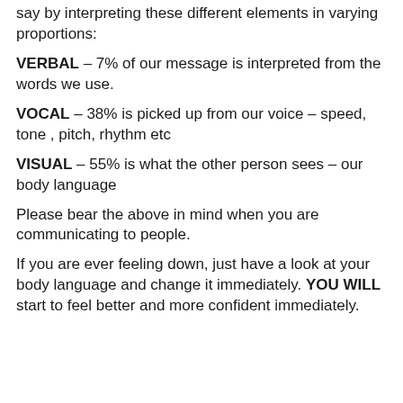say by interpreting these different elements in varying proportions:
VERBAL – 7% of our message is interpreted from the words we use.
VOCAL – 38% is picked up from our voice – speed, tone , pitch, rhythm etc
VISUAL – 55% is what the other person sees – our body language
Please bear the above in mind when you are communicating to people.
If you are ever feeling down, just have a look at your body language and change it immediately. YOU WILL start to feel better and more confident immediately.